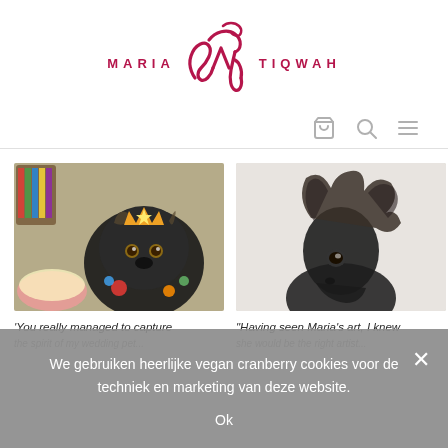[Figure (logo): Maria Tiqwah logo with stylized MT monogram in crimson/dark red and uppercase spaced lettering]
[Figure (photo): Pencil/pastel drawing of a black fluffy dog (Chihuahua mix) wearing a gold crown with floral elements, art supplies visible in background]
'You really managed to capture
[Figure (photo): Pencil/charcoal drawing of a black miniature horse (pony) portrait on light grey background]
"Having seen Maria's art, I knew she would be the right artist..."
We gebruiken heerlijke vegan cranberry cookies voor de techniek en marketing van deze website.
Ok